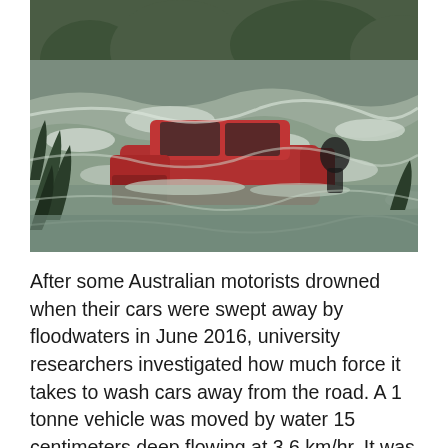[Figure (photo): A red SUV/pickup truck submerged in fast-moving brown floodwaters, with turbulent white water surrounding it. Vegetation visible in the foreground and background.]
After some Australian motorists drowned when their cars were swept away by floodwaters in June 2016, university researchers investigated how much force it takes to wash cars away from the road. A 1 tonne vehicle was moved by water 15 centimeters deep flowing at 3.6 km/hr. It was carried away in 60 centimeters of water. A 2.5 tonne vehicle was moved by 45 centimeters of water and began floating in 95 centimeters of water. The researchers suggested